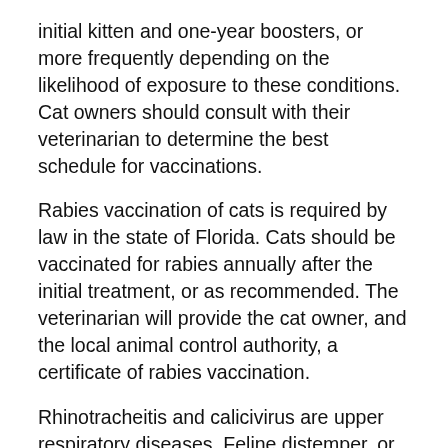initial kitten and one-year boosters, or more frequently depending on the likelihood of exposure to these conditions. Cat owners should consult with their veterinarian to determine the best schedule for vaccinations.
Rabies vaccination of cats is required by law in the state of Florida. Cats should be vaccinated for rabies annually after the initial treatment, or as recommended. The veterinarian will provide the cat owner, and the local animal control authority, a certificate of rabies vaccination.
Rhinotracheitis and calicivirus are upper respiratory diseases. Feline distemper, or panleukopenia virus, is a very severe disease that attacks the cat's immune system and causes severe gastrointestinal